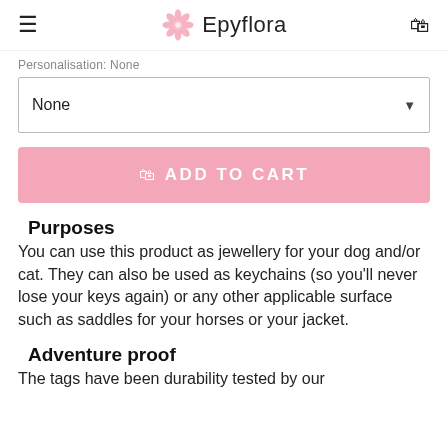Epyflora
Personalisation: None
None
ADD TO CART
Purposes
You can use this product as jewellery for your dog and/or cat. They can also be used as keychains (so you'll never lose your keys again) or any other applicable surface such as saddles for your horses or your jacket.
Adventure proof
The tags have been durability tested by our